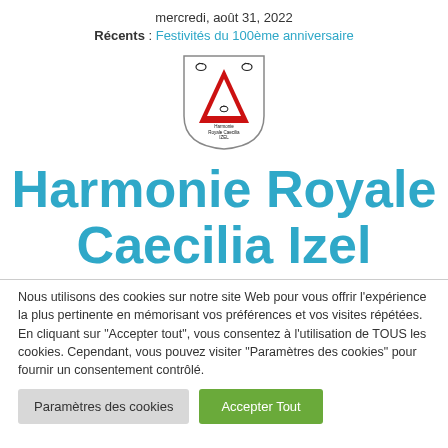mercredi, août 31, 2022
Récents : Festivités du 100ème anniversaire
[Figure (logo): Shield-shaped coat of arms logo with red triangle/chevron, black bird motifs, and text 'Harmonie Royale Caecilia IZEL' inside]
Harmonie Royale Caecilia Izel
Nous utilisons des cookies sur notre site Web pour vous offrir l'expérience la plus pertinente en mémorisant vos préférences et vos visites répétées. En cliquant sur "Accepter tout", vous consentez à l'utilisation de TOUS les cookies. Cependant, vous pouvez visiter "Paramètres des cookies" pour fournir un consentement contrôlé.
Paramètres des cookies
Accepter Tout